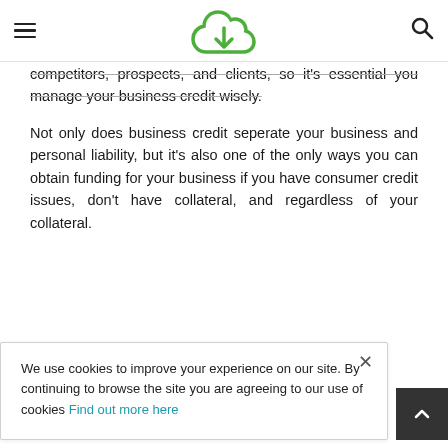Navigation header with hamburger menu, cloud download logo, and search icon
competitors, prospects, and clients, so it's essential you manage your business credit wisely.
Not only does business credit seperate your business and personal liability, but it's also one of the only ways you can obtain funding for your business if you have consumer credit issues, don't have collateral, and regardless of your collateral.
We use cookies to improve your experience on our site. By continuing to browse the site you are agreeing to our use of cookies Find out more here